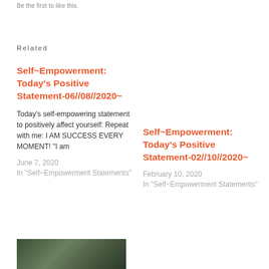Be the first to like this.
Related
Self~Empowerment: Today's Positive Statement-06//08//2020~
Today's self-empowering statement to positively affect yourself: Repeat with me: I AM SUCCESS EVERY MOMENT! "I am
June 7, 2020
In "Self~Empowerment Statements"
Self~Empowerment: Today's Positive Statement-02//10//2020~
February 10, 2020
In "Self~Empowerment Statements"
[Figure (photo): Dark forest/nature thumbnail image]